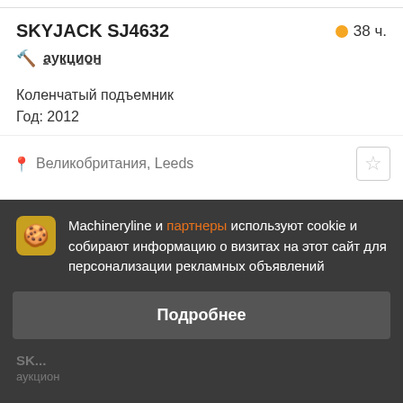SKYJACK SJ4632  ● 38 ч.
аукцион
Коленчатый подъемник
Год: 2012
Великобритания, Leeds
Machineryline и партнеры используют cookie и собирают информацию о визитах на этот сайт для персонализации рекламных объявлений
Подробнее
Согласиться и закрыть
SK...
аукцион